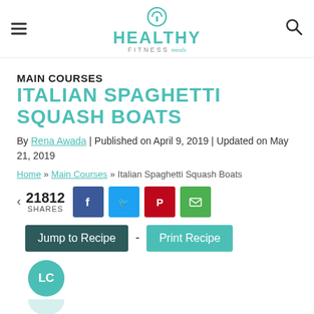Healthy Fitness Meals logo with hamburger menu and search icon
MAIN COURSES
ITALIAN SPAGHETTI SQUASH BOATS
By Rena Awada | Published on April 9, 2019 | Updated on May 21, 2019
Home » Main Courses » Italian Spaghetti Squash Boats
21812 SHARES
[Figure (other): Social share buttons: Facebook, Twitter, Pinterest, Email]
Jump to Recipe - Print Recipe
[Figure (other): LC badge circle teal with white text LC]
This Spaghetti Squash Boat recipe is a great way of